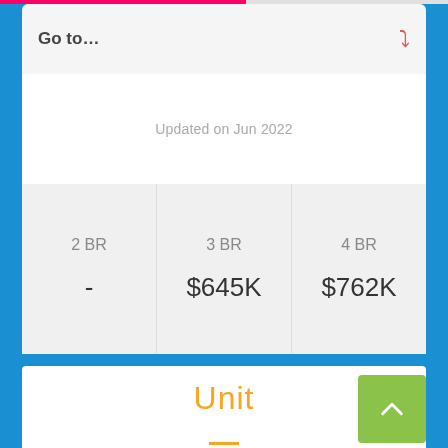Go to…
Updated on Jun 2022
| 2 BR | 3 BR | 4 BR |
| --- | --- | --- |
| - | $645K | $762K |
Unit